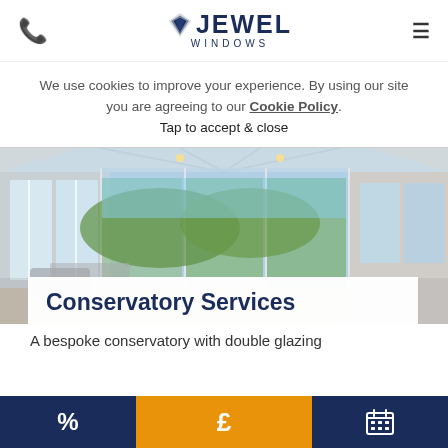Jewel Windows - header with phone icon, logo, and menu icon
We use cookies to improve your experience. By using our site you are agreeing to our Cookie Policy. Tap to accept & close
[Figure (photo): Interior of a bright conservatory with large glass sliding doors, glass roof, and green garden view outside. White framed structure with sofas visible inside.]
Conservatory Services
A bespoke conservatory with double glazing
Bottom navigation bar with % icon (dark blue), £ icon (gold/orange), and calendar icon (dark blue)